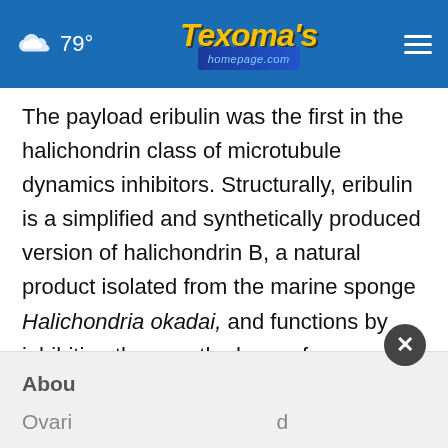79° Texoma's homepage.com
The payload eribulin was the first in the halichondrin class of microtubule dynamics inhibitors. Structurally, eribulin is a simplified and synthetically produced version of halichondrin B, a natural product isolated from the marine sponge Halichondria okadai, and functions by inhibiting the growth phase of microtubule dynamics which prevents cell division.
Abou
Ovari d